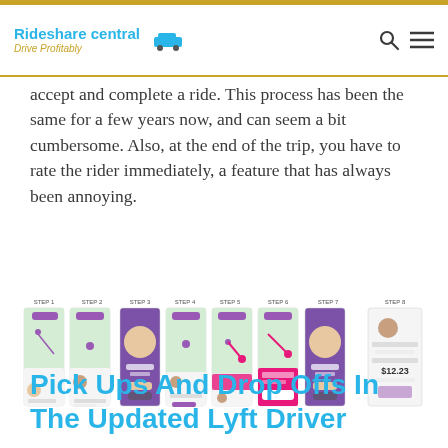Rideshare central Drive Profitably
accept and complete a ride. This process has been the same for a few years now, and can seem a bit cumbersome. Also, at the end of the trip, you have to rate the rider immediately, a feature that has always been annoying.
[Figure (screenshot): Eight step-by-step screenshots of the Lyft driver app interface showing steps 1 through 8 of accepting and completing a ride.]
Pick Ups And Drop Offs In The Updated Lyft Driver